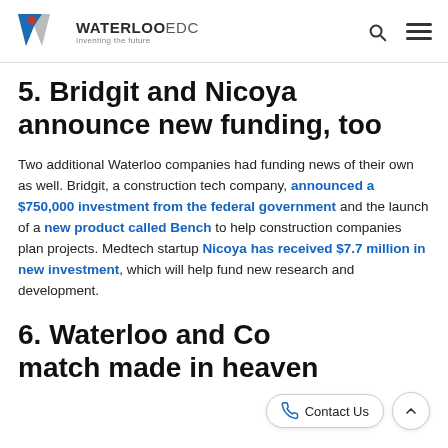WATERLOO EDC — Inventing the future
5. Bridgit and Nicoya announce new funding, too
Two additional Waterloo companies had funding news of their own as well. Bridgit, a construction tech company, announced a $750,000 investment from the federal government and the launch of a new product called Bench to help construction companies plan projects. Medtech startup Nicoya has received $7.7 million in new investment, which will help fund new research and development.
6. Waterloo and Co[llaboration: a] match made in heaven